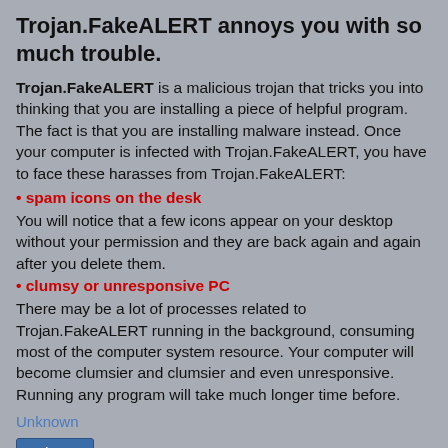Trojan.FakeALERT annoys you with so much trouble.
Trojan.FakeALERT is a malicious trojan that tricks you into thinking that you are installing a piece of helpful program. The fact is that you are installing malware instead. Once your computer is infected with Trojan.FakeALERT, you have to face these harasses from Trojan.FakeALERT:
• spam icons on the desk
You will notice that a few icons appear on your desktop without your permission and they are back again and again after you delete them.
• clumsy or unresponsive PC
There may be a lot of processes related to Trojan.FakeALERT running in the background, consuming most of the computer system resource. Your computer will become clumsier and clumsier and even unresponsive. Running any program will take much longer time before.
Unknown
Share